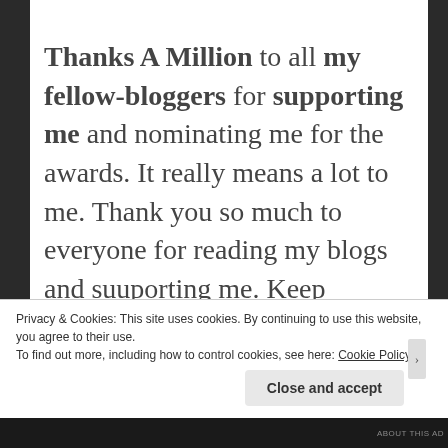Thanks A Million to all my fellow-bloggers for supporting me and nominating me for the awards. It really means a lot to me. Thank you so much to everyone for reading my blogs and suuporting me. Keep supporting and keep smiling. Stay home, stay safe and stay tuned. Take care.
If you have any suggestions regarding my
Privacy & Cookies: This site uses cookies. By continuing to use this website, you agree to their use.
To find out more, including how to control cookies, see here: Cookie Policy
Close and accept